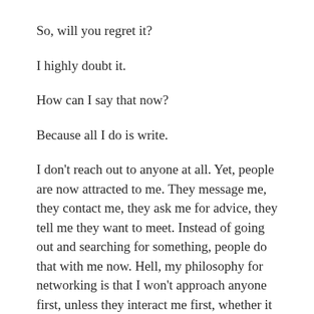So, will you regret it?
I highly doubt it.
How can I say that now?
Because all I do is write.
I don't reach out to anyone at all. Yet, people are now attracted to me. They message me, they contact me, they ask me for advice, they tell me they want to meet. Instead of going out and searching for something, people do that with me now. Hell, my philosophy for networking is that I won't approach anyone first, unless they interact me first, whether it be someone who wants to be a friend or a client.
So, if I can make it possible to be happy by not